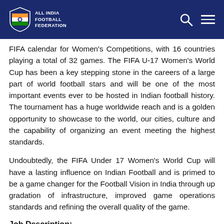INDIA ALL INDIA FOOTBALL FEDERATION
FIFA calendar for Women's Competitions, with 16 countries playing a total of 32 games. The FIFA U-17 Women's World Cup has been a key stepping stone in the careers of a large part of world football stars and will be one of the most important events ever to be hosted in Indian football history. The tournament has a huge worldwide reach and is a golden opportunity to showcase to the world, our cities, culture and the capability of organizing an event meeting the highest standards.
Undoubtedly, the FIFA Under 17 Women's World Cup will have a lasting influence on Indian Football and is primed to be a game changer for the Football Vision in India through up gradation of infrastructure, improved game operations standards and refining the overall quality of the game.
Job Description: